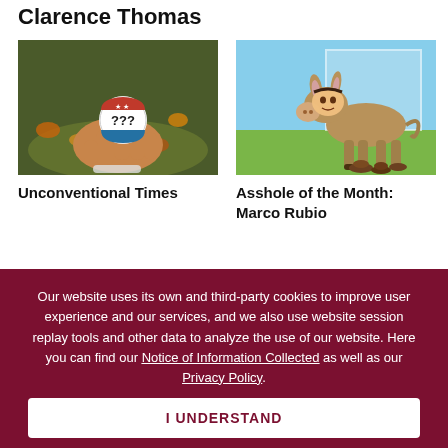Clarence Thomas
[Figure (photo): A hand holding a round campaign button with red, white, and blue design showing three question marks (???)]
Unconventional Times
[Figure (photo): A cartoon donkey with a politician's face (Marco Rubio) photoshopped on it, standing on a grassy background]
Asshole of the Month: Marco Rubio
Our website uses its own and third-party cookies to improve user experience and our services, and we also use website session replay tools and other data to analyze the use of our website. Here you can find our Notice of Information Collected as well as our Privacy Policy.
I UNDERSTAND